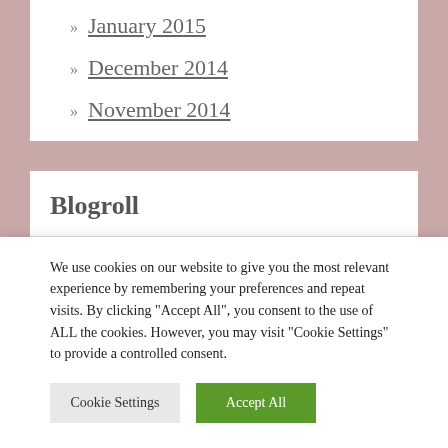January 2015
December 2014
November 2014
Blogroll
Discover New Voices
We use cookies on our website to give you the most relevant experience by remembering your preferences and repeat visits. By clicking "Accept All", you consent to the use of ALL the cookies. However, you may visit "Cookie Settings" to provide a controlled consent.
Cookie Settings | Accept All